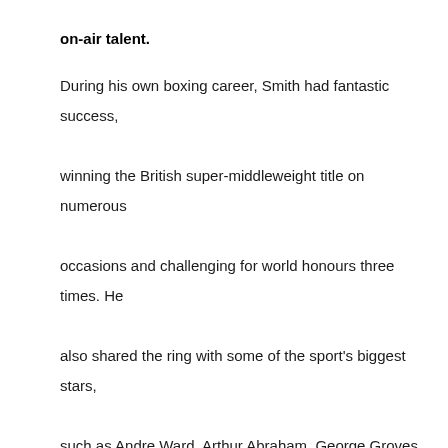on-air talent.
During his own boxing career, Smith had fantastic success, winning the British super-middleweight title on numerous occasions and challenging for world honours three times. He also shared the ring with some of the sport's biggest stars, such as Andre Ward, Arthur Abraham, George Groves and James DeGale.
The Liverpudlian is part of the proud fighting Smith family alongside Callum, Liam and Stephen, who made history by having all four brothers win British titles during their respective